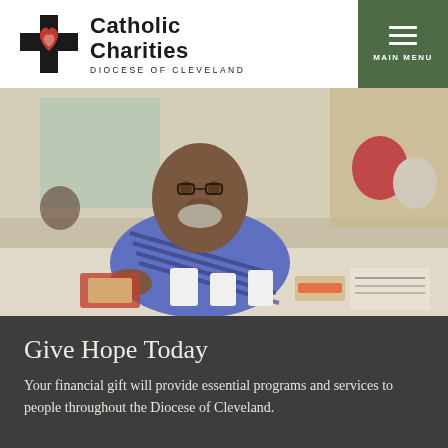[Figure (logo): Catholic Charities Diocese of Cleveland logo with cross and heart icon]
MAIN MENU
[Figure (photo): An elderly Black man in a blue striped polo shirt sitting at a cafeteria table with food, drinks, and a newspaper. Other people visible in the background.]
Give Hope Today
Your financial gift will provide essential programs and services to people throughout the Diocese of Cleveland.